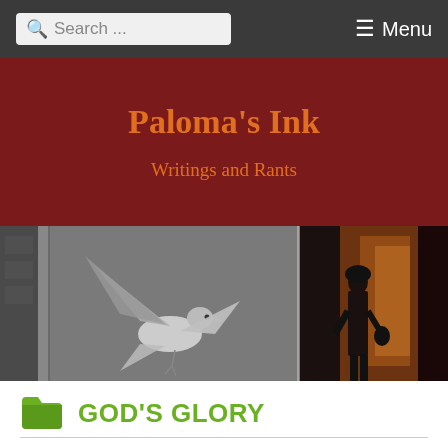Search ... ☰ Menu
Paloma's Ink
Writings and Rants
[Figure (photo): Split photo: left side shows a pigeon with spread wings in a city alley (black and white), right side shows a silhouetted person walking down a warm-lit narrow alley]
GOD'S GLORY
II Kings 17 (Israel)